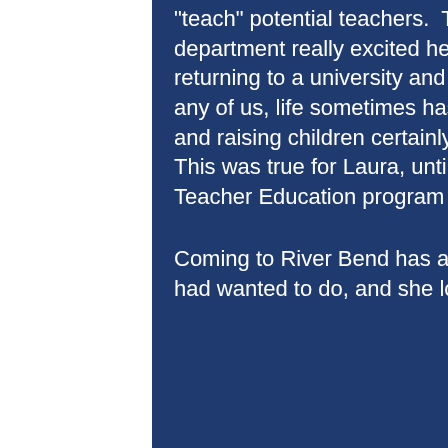“teach” potential teachers.  The idea of teaching in an education department really excited her, even though it would probably mean returning to a university and earning her doctorate to find a position. As with any of us, life sometimes has different plans for us, and starting a family and raising children certainly put some of our dreams on a “backburner”. This was true for Laura, until River Bend advertised for an instructor for the Teacher Education program last spring.
Coming to River Bend has allowed Laura to find the “perfect fit” in what she had wanted to do, and she loves it! She still helps students from all
[Figure (photo): Photograph of green leafy trees and stacked logs on the right side of the page]